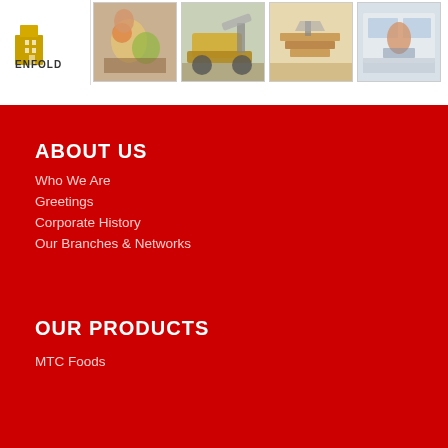[Figure (logo): Enfold logo with golden/yellow building icon and text ENFOLD]
[Figure (photo): Photo of people with groceries/food]
[Figure (photo): Photo of construction equipment/excavator]
[Figure (photo): Photo of carpentry/wood working]
[Figure (photo): Photo of office/interior setting]
ABOUT US
Who We Are
Greetings
Corporate History
Our Branches & Networks
OUR PRODUCTS
MTC Foods